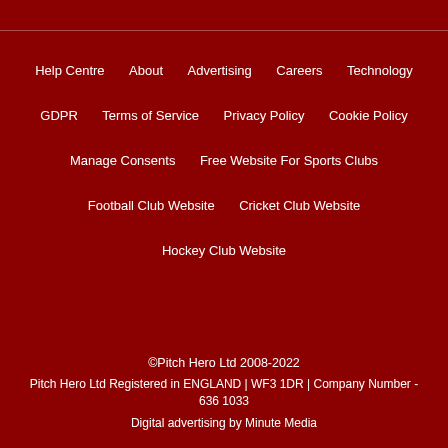Help Centre
About
Advertising
Careers
Technology
GDPR
Terms of Service
Privacy Policy
Cookie Policy
Manage Consents
Free Website For Sports Clubs
Football Club Website
Cricket Club Website
Hockey Club Website
©Pitch Hero Ltd 2008-2022
Pitch Hero Ltd Registered in ENGLAND | WF3 1DR | Company Number - 636 1033
Digital advertising by Minute Media